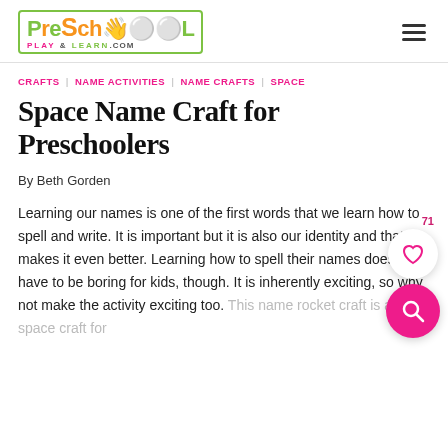PreSchool Play & Learn .com
CRAFTS | NAME ACTIVITIES | NAME CRAFTS | SPACE
Space Name Craft for Preschoolers
By Beth Gorden
Learning our names is one of the first words that we learn how to spell and write. It is important but it is also our identity and that makes it even better. Learning how to spell their names does not have to be boring for kids, though. It is inherently exciting, so why not make the activity exciting too. This name rocket craft is a fun space craft for